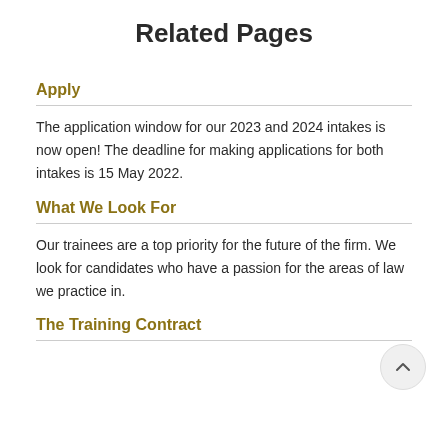Related Pages
Apply
The application window for our 2023 and 2024 intakes is now open! The deadline for making applications for both intakes is 15 May 2022.
What We Look For
Our trainees are a top priority for the future of the firm. We look for candidates who have a passion for the areas of law we practice in.
The Training Contract